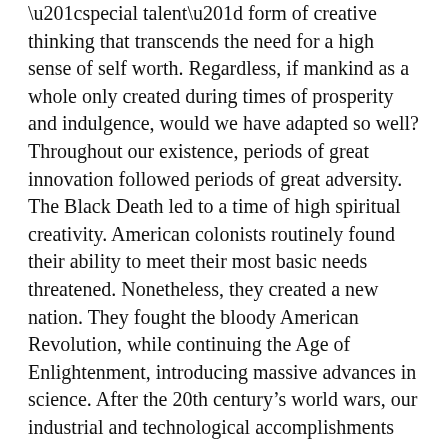“special talent” form of creative thinking that transcends the need for a high sense of self worth. Regardless, if mankind as a whole only created during times of prosperity and indulgence, would we have adapted so well? Throughout our existence, periods of great innovation followed periods of great adversity. The Black Death led to a time of high spiritual creativity. American colonists routinely found their ability to meet their most basic needs threatened. Nonetheless, they created a new nation. They fought the bloody American Revolution, while continuing the Age of Enlightenment, introducing massive advances in science. After the 20th century’s world wars, our industrial and technological accomplishments exploded.
The theory of evolution supports change